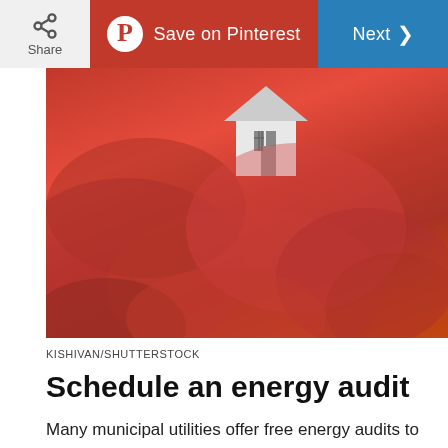Share | Save on Pinterest | Next
[Figure (photo): A red knitted scarf wrapped around a small white miniature house model, placed on a wooden surface. The image suggests home insulation and energy efficiency.]
KISHIVAN/SHUTTERSTOCK
Schedule an energy audit
Many municipal utilities offer free energy audits to let homeowners know where they can save energy and improve efficiency. If your local utility